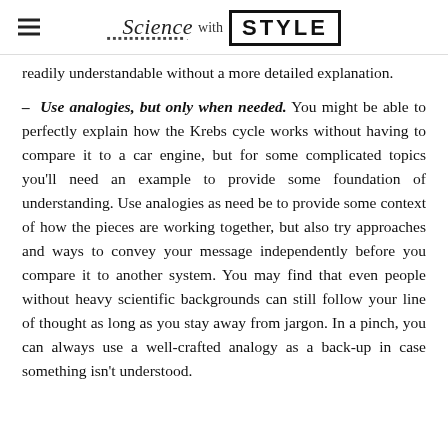Science with STYLE
readily understandable without a more detailed explanation.
– Use analogies, but only when needed. You might be able to perfectly explain how the Krebs cycle works without having to compare it to a car engine, but for some complicated topics you'll need an example to provide some foundation of understanding. Use analogies as need be to provide some context of how the pieces are working together, but also try approaches and ways to convey your message independently before you compare it to another system. You may find that even people without heavy scientific backgrounds can still follow your line of thought as long as you stay away from jargon. In a pinch, you can always use a well-crafted analogy as a back-up in case something isn't understood.